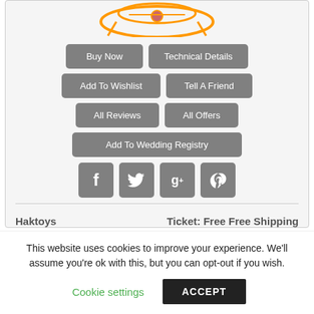[Figure (photo): Partial orange drone/quadcopter image at top]
Buy Now
Technical Details
Add To Wishlist
Tell A Friend
All Reviews
All Offers
Add To Wedding Registry
[Figure (infographic): Social media buttons: Facebook, Twitter, Google+, Pinterest]
Haktoys
Ticket: Free Free Shipping
This website uses cookies to improve your experience. We'll assume you're ok with this, but you can opt-out if you wish.
Cookie settings
ACCEPT